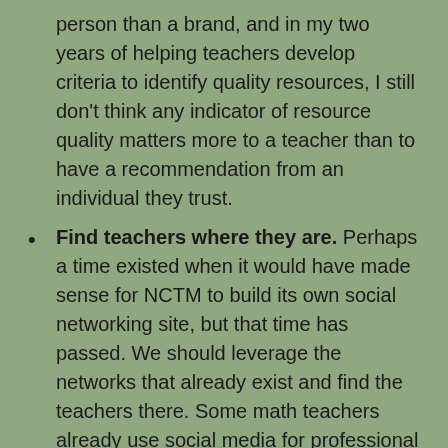person than a brand, and in my two years of helping teachers develop criteria to identify quality resources, I still don't think any indicator of resource quality matters more to a teacher than to have a recommendation from an individual they trust.
Find teachers where they are. Perhaps a time existed when it would have made sense for NCTM to build its own social networking site, but that time has passed. We should leverage the networks that already exist and find the teachers there. Some math teachers already use social media for professional reasons and would be easily engaged by NCTM. Other teachers of mathematics, who may only use social media for personal reasons, number in the tens and potentially hundreds of thousands. They may or may not be NCTM members, or regularly interact with other teachers online, but they exist. NCTM needs to organize its membership so that we